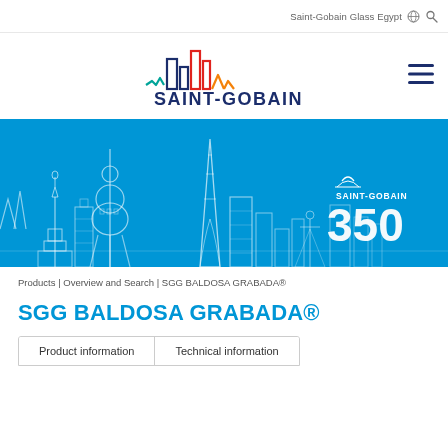Saint-Gobain Glass Egypt
[Figure (logo): Saint-Gobain logo with colorful building skyline graphic and SAINT-GOBAIN text in dark blue]
[Figure (illustration): Blue banner with white line-art cityscape showing Eiffel Tower, Statue of Liberty, and other world landmarks, with SAINT-GOBAIN 350 anniversary branding on the right]
Products | Overview and Search | SGG BALDOSA GRABADA®
SGG BALDOSA GRABADA®
Product information  Technical information